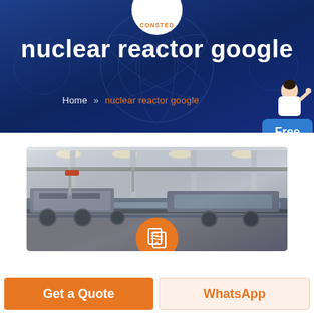CONSTED
nuclear reactor google
Home » nuclear reactor google
[Figure (photo): Factory floor photo showing large industrial steel machinery/equipment in a manufacturing hall with columns and overhead lighting. An orange circular icon with document/file graphic overlaid at bottom center.]
Get a Quote
WhatsApp